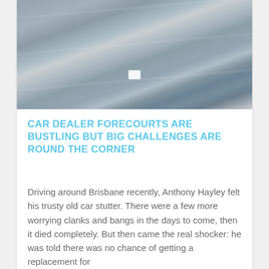[Figure (photo): A row of car doors lined up vertically at what appears to be a salvage yard or parts dealer. The doors are mostly dark blue/grey with some colorful ones visible. A white tag is visible in the center.]
CAR DEALER FORECOURTS ARE BUSTLING BUT BIG CHALLENGES ARE ROUND THE CORNER
Driving around Brisbane recently, Anthony Hayley felt his trusty old car stutter. There were a few more worrying clanks and bangs in the days to come, then it died completely. But then came the real shocker: he was told there was no chance of getting a replacement for